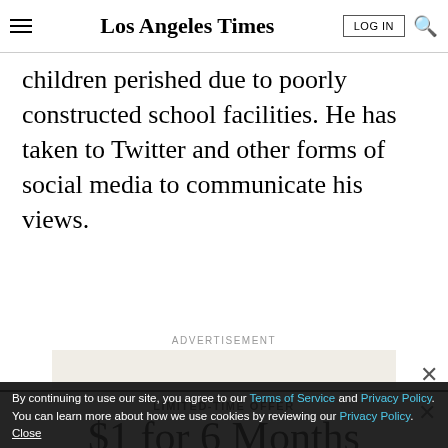Los Angeles Times
children perished due to poorly constructed school facilities. He has taken to Twitter and other forms of social media to communicate his views.
ADVERTISEMENT
LIMITED-TIME OFFER
$1 for 6 Months
SUBSCRIBE NOW
By continuing to use our site, you agree to our Terms of Service and Privacy Policy. You can learn more about how we use cookies by reviewing our Privacy Policy. Close